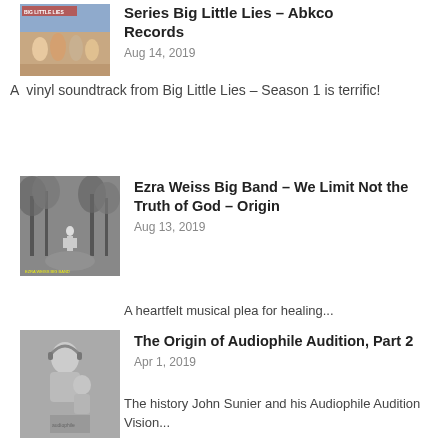[Figure (photo): Big Little Lies TV series album cover with cast members]
Series Big Little Lies – Abkco Records
Aug 14, 2019
A  vinyl soundtrack from Big Little Lies – Season 1 is terrific!
[Figure (photo): Black and white album cover showing a person standing in a wooded path]
Ezra Weiss Big Band – We Limit Not the Truth of God – Origin
Aug 13, 2019
A heartfelt musical plea for healing...
[Figure (photo): Black and white photo of a person wearing headphones holding an album]
The Origin of Audiophile Audition, Part 2
Apr 1, 2019
The history John Sunier and his Audiophile Audition Vision...